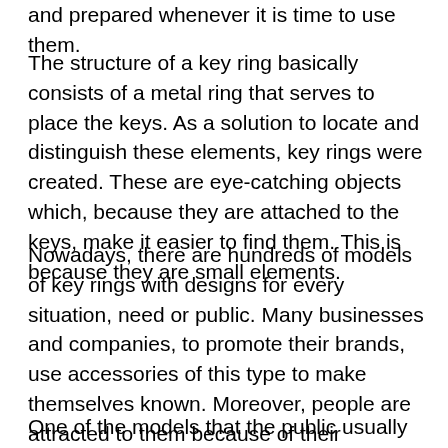and prepared whenever it is time to use them.
The structure of a key ring basically consists of a metal ring that serves to place the keys. As a solution to locate and distinguish these elements, key rings were created. These are eye-catching objects which, because they are attached to the keys, make it easier to find them. This is because they are small elements.
Nowadays, there are hundreds of models of key rings with designs for every situation, need or public. Many businesses and companies, to promote their brands, use accessories of this type to make themselves known. Moreover, people are attracted to them because of their elegance and showiness, which makes them fascinating objects for both children and adults.
One of the models that the public usually likes the most is the one that features and. So if you want to surprise and